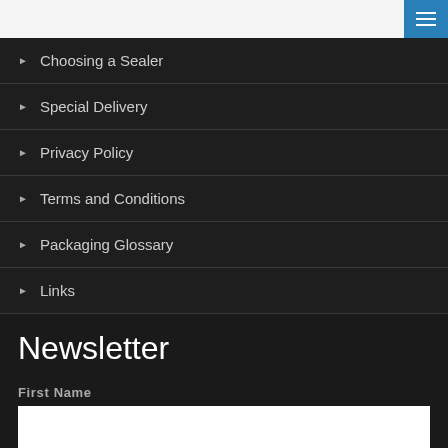[Figure (other): Top navigation bar with hamburger menu button (blue square with three white lines)]
Choosing a Sealer
Special Delivery
Privacy Policy
Terms and Conditions
Packaging Glossary
Links
Newsletter
First Name
Last Name